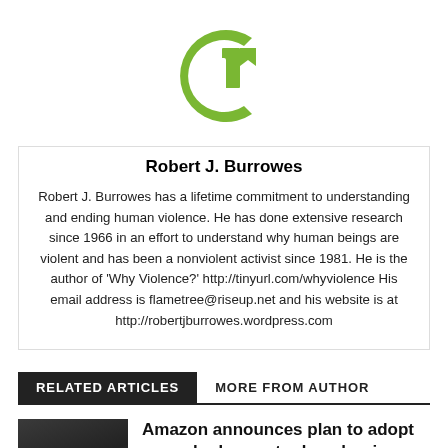[Figure (logo): Green stylized letter C logo for a publication]
Robert J. Burrowes
Robert J. Burrowes has a lifetime commitment to understanding and ending human violence. He has done extensive research since 1966 in an effort to understand why human beings are violent and has been a nonviolent activist since 1981. He is the author of 'Why Violence?' http://tinyurl.com/whyviolence His email address is flametree@riseup.net and his website is at http://robertjburrowes.wordpress.com
RELATED ARTICLES
MORE FROM AUTHOR
[Figure (photo): Amazon logo/branding image with dark background]
Amazon announces plan to adopt green hydrogen to decarbonize operations